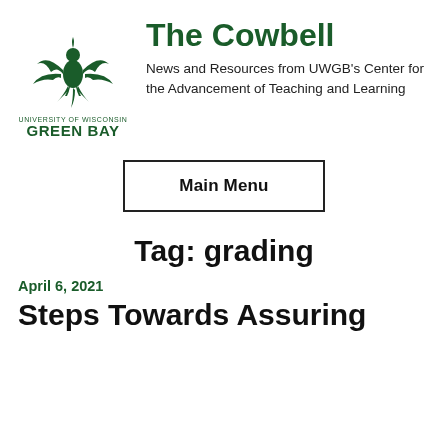[Figure (logo): University of Wisconsin Green Bay phoenix logo with text 'University of Wisconsin GREEN BAY']
The Cowbell
News and Resources from UWGB's Center for the Advancement of Teaching and Learning
Main Menu
Tag: grading
April 6, 2021
Steps Towards Assuring